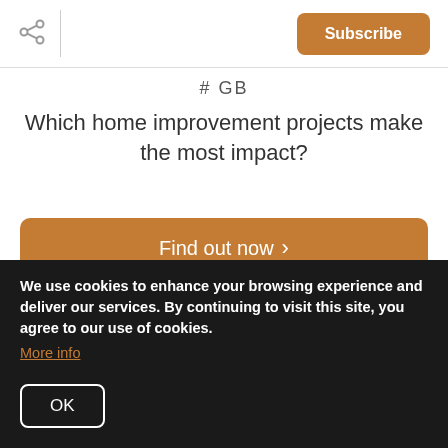Subscribe
# GB
Which home improvement projects make the most impact?
Find out now >
Subscribe
We respect your inbox. We only send interesting and
We use cookies to enhance your browsing experience and deliver our services. By continuing to visit this site, you agree to our use of cookies. More info
OK